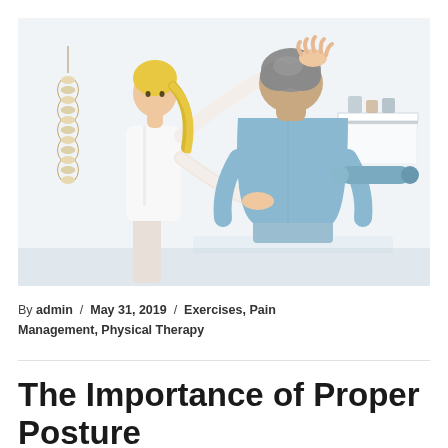[Figure (photo): A female healthcare professional (physiotherapist/chiropractor) in a white coat standing behind a male patient seated on an examination table, viewed from behind. The practitioner has one hand on top of the patient's head and one hand on his shoulder/neck. A spine anatomical model hangs on the wall to the left. A white shelf with small containers is visible on the right wall. Clinical white room background.]
By admin / May 31, 2019 / Exercises, Pain Management, Physical Therapy
The Importance of Proper Posture